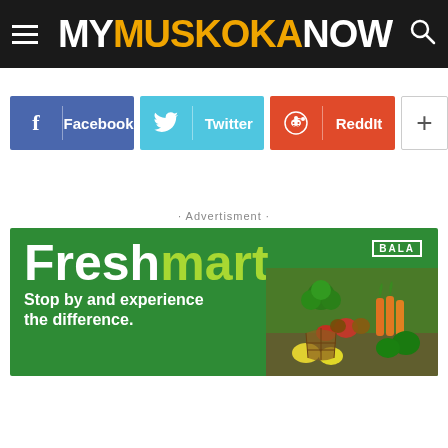MY MUSKOKA NOW
[Figure (infographic): Social sharing buttons: Facebook (blue), Twitter (cyan), RedditIt (orange-red), and a plus button]
· Advertisment ·
[Figure (infographic): Bala Freshmart advertisement banner with green background, white and lime text reading 'Freshmart', tagline 'Stop by and experience the difference.' and a photo of fresh vegetables on the right]